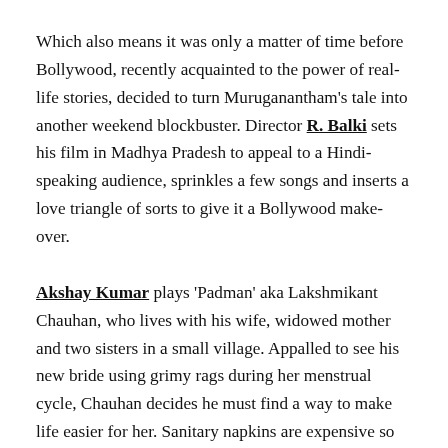Which also means it was only a matter of time before Bollywood, recently acquainted to the power of real-life stories, decided to turn Muruganantham's tale into another weekend blockbuster. Director R. Balki sets his film in Madhya Pradesh to appeal to a Hindi-speaking audience, sprinkles a few songs and inserts a love triangle of sorts to give it a Bollywood make-over.
Akshay Kumar plays 'Padman' aka Lakshmikant Chauhan, who lives with his wife, widowed mother and two sisters in a small village. Appalled to see his new bride using grimy rags during her menstrual cycle, Chauhan decides he must find a way to make life easier for her. Sanitary napkins are expensive so he starts making his own by using cotton, plastic sheets and soft